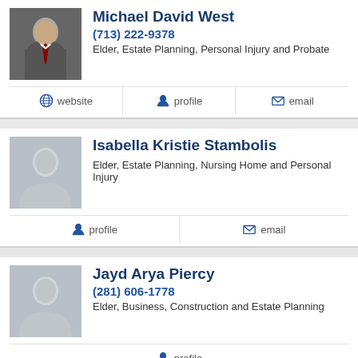Michael David West
(713) 222-9378
Elder, Estate Planning, Personal Injury and Probate
website | profile | email
Isabella Kristie Stambolis
Elder, Estate Planning, Nursing Home and Personal Injury
profile | email
Jayd Arya Piercy
(281) 606-1778
Elder, Business, Construction and Estate Planning
profile